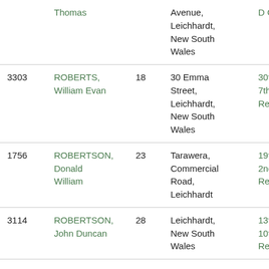| No. | Name | Age | Address | Unit |
| --- | --- | --- | --- | --- |
|  | Thomas |  | Avenue, Leichhardt, New South Wales | D Com… |
| 3303 | ROBERTS, William Evan | 18 | 30 Emma Street, Leichhardt, New South Wales | 30th B… 7th Reinfor… |
| 1756 | ROBERTSON, Donald William | 23 | Tarawera, Commercial Road, Leichhardt | 19th B… 2nd Reinfor… |
| 3114 | ROBERTSON, John Duncan | 28 | Leichhardt, New South Wales | 13th B… 10th Reinfor… |